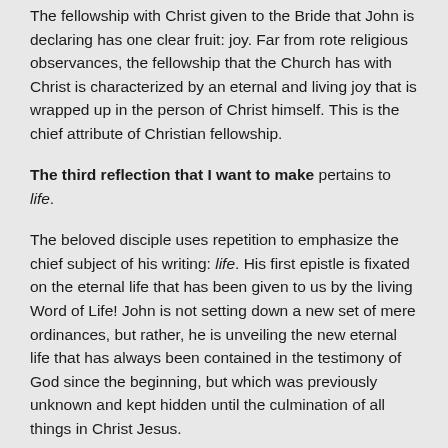The fellowship with Christ given to the Bride that John is declaring has one clear fruit: joy. Far from rote religious observances, the fellowship that the Church has with Christ is characterized by an eternal and living joy that is wrapped up in the person of Christ himself. This is the chief attribute of Christian fellowship.
The third reflection that I want to make pertains to life.
The beloved disciple uses repetition to emphasize the chief subject of his writing: life. His first epistle is fixated on the eternal life that has been given to us by the living Word of Life! John is not setting down a new set of mere ordinances, but rather, he is unveiling the new eternal life that has always been contained in the testimony of God since the beginning, but which was previously unknown and kept hidden until the culmination of all things in Christ Jesus.